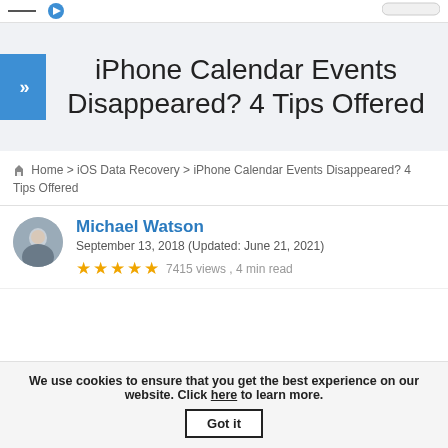iPhone Calendar Events Disappeared? 4 Tips Offered
Home > iOS Data Recovery > iPhone Calendar Events Disappeared? 4 Tips Offered
Michael Watson
September 13, 2018 (Updated: June 21, 2021)
★★★★★ 7415 views , 4 min read
We use cookies to ensure that you get the best experience on our website. Click here to learn more. Got it